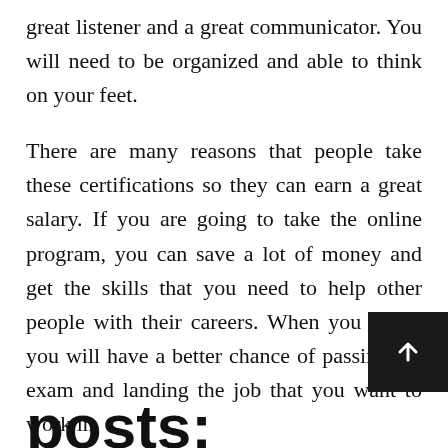great listener and a great communicator. You will need to be organized and able to think on your feet.
There are many reasons that people take these certifications so they can earn a great salary. If you are going to take the online program, you can save a lot of money and get the skills that you need to help other people with their careers. When you study, you will have a better chance of passing the exam and landing the job that you want to work in.
Related posts: